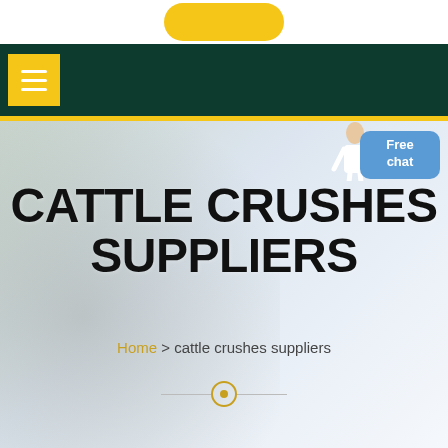[Figure (screenshot): Dark green navigation bar with yellow hamburger menu button on the left, and a yellow rounded button at the top center.]
CATTLE CRUSHES SUPPLIERS
Home > cattle crushes suppliers
[Figure (illustration): Free chat widget with blue rounded rectangle showing 'Free chat' text and a small figure of a person above it on the right side of the hero image.]